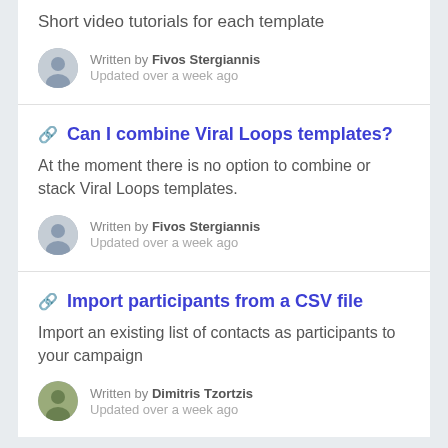Short video tutorials for each template
Written by Fivos Stergiannis
Updated over a week ago
🔗 Can I combine Viral Loops templates?
At the moment there is no option to combine or stack Viral Loops templates.
Written by Fivos Stergiannis
Updated over a week ago
🔗 Import participants from a CSV file
Import an existing list of contacts as participants to your campaign
Written by Dimitris Tzortzis
Updated over a week ago